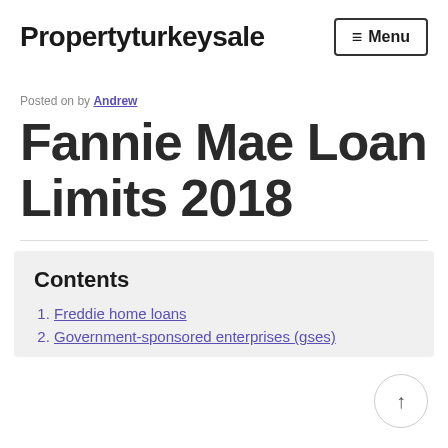Propertyturkeysale  ☰ Menu
Posted on by Andrew
Fannie Mae Loan Limits 2018
Contents
1. Freddie home loans
2. Government-sponsored enterprises (gses)